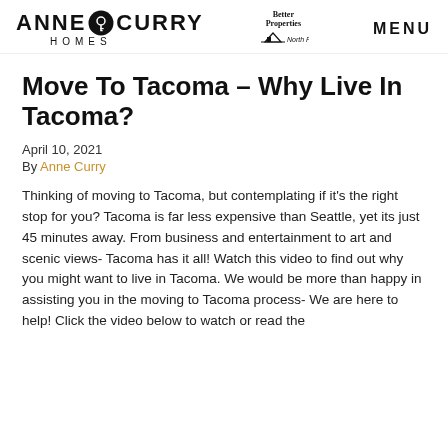ANNE CURRY HOMES | Better Properties North Proctor | MENU
Move To Tacoma – Why Live In Tacoma?
April 10, 2021
By Anne Curry
Thinking of moving to Tacoma, but contemplating if it's the right stop for you? Tacoma is far less expensive than Seattle, yet its just 45 minutes away. From business and entertainment to art and scenic views- Tacoma has it all! Watch this video to find out why you might want to live in Tacoma. We would be more than happy in assisting you in the moving to Tacoma process- We are here to help! Click the video below to watch or read the